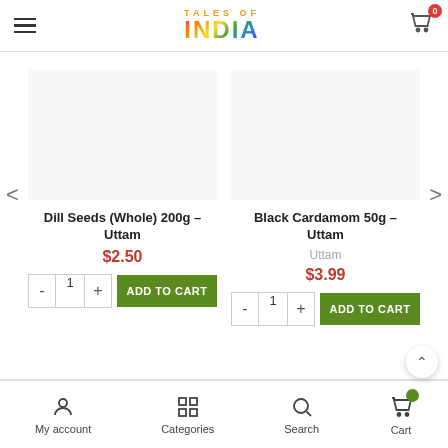Tales of India — header with hamburger menu, logo, and cart icon
[Figure (screenshot): Product image placeholder for Dill Seeds (Whole) 200g]
Dill Seeds (Whole) 200g – Uttam
$2.50
[Figure (screenshot): Product image placeholder for Black Cardamom 50g]
Black Cardamom 50g – Uttam
Uttam
$3.99
My account | Categories | Search | Cart